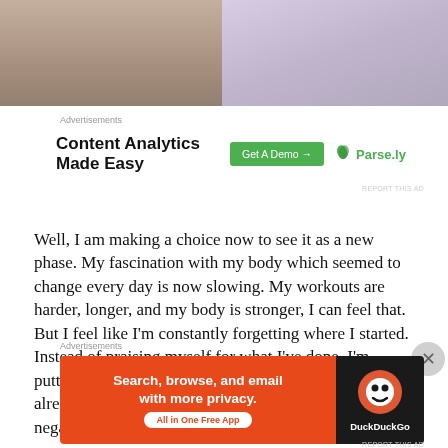[Figure (photo): Two side-by-side cropped photos at top of page. Left photo shows people near a cake with floral decorations. Right photo shows a person in a light blue/grey top.]
Advertisements
[Figure (infographic): Advertisement banner: 'Content Analytics Made Easy' with a green 'Get A Demo →' button and Parse.ly branding with leaf logo.]
Well, I am making a choice now to see it as a new phase. My fascination with my body which seemed to change every day is now slowing. My workouts are harder, longer, and my body is stronger, I can feel that. But I feel like I'm constantly forgetting where I started. Instead of praising myself for what I've done, I'm putting myself down for not getting there faster, not already being at my goal, not starting sooner. Just negative thoughts that keep me
Advertisements
[Figure (infographic): DuckDuckGo advertisement banner on orange background. Text: 'Search, browse, and email with more privacy.' with 'All in One Free App' button. DuckDuckGo logo on dark right panel.]